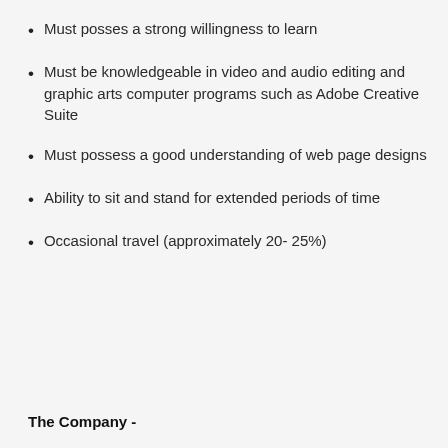Must posses a strong willingness to learn
Must be knowledgeable in video and audio editing and graphic arts computer programs such as Adobe Creative Suite
Must possess a good understanding of web page designs
Ability to sit and stand for extended periods of time
Occasional travel (approximately 20- 25%)
The Company -